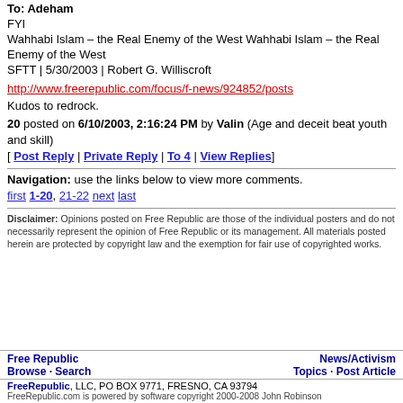To: Adeham
FYI
Wahhabi Islam – the Real Enemy of the West Wahhabi Islam – the Real Enemy of the West
SFTT | 5/30/2003 | Robert G. Williscroft
http://www.freerepublic.com/focus/f-news/924852/posts
Kudos to redrock.
20 posted on 6/10/2003, 2:16:24 PM by Valin (Age and deceit beat youth and skill)
[ Post Reply | Private Reply | To 4 | View Replies]
Navigation: use the links below to view more comments.
first 1-20, 21-22 next last
Disclaimer: Opinions posted on Free Republic are those of the individual posters and do not necessarily represent the opinion of Free Republic or its management. All materials posted herein are protected by copyright law and the exemption for fair use of copyrighted works.
Free Republic   News/Activism
Browse · Search   Topics · Post Article
FreeRepublic, LLC, PO BOX 9771, FRESNO, CA 93794
FreeRepublic.com is powered by software copyright 2000-2008 John Robinson